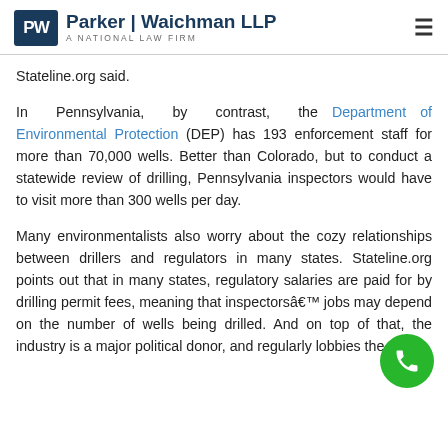Parker | Waichman LLP — A NATIONAL LAW FIRM
Stateline.org said.
In Pennsylvania, by contrast, the Department of Environmental Protection (DEP) has 193 enforcement staff for more than 70,000 wells. Better than Colorado, but to conduct a statewide review of drilling, Pennsylvania inspectors would have to visit more than 300 wells per day.
Many environmentalists also worry about the cozy relationships between drillers and regulators in many states. Stateline.org points out that in many states, regulatory salaries are paid for by drilling permit fees, meaning that inspectors’ jobs may depend on the number of wells being drilled. And on top of that, the industry is a major political donor, and regularly lobbies the